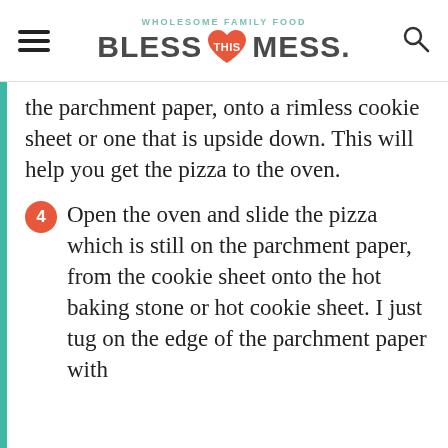WHOLESOME FAMILY FOOD
BLESS THIS MESS.
the parchment paper, onto a rimless cookie sheet or one that is upside down. This will help you get the pizza to the oven.
4 Open the oven and slide the pizza which is still on the parchment paper, from the cookie sheet onto the hot baking stone or hot cookie sheet. I just tug on the edge of the parchment paper with